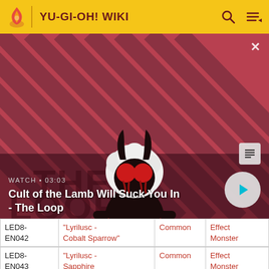YU-GI-OH! WIKI
[Figure (screenshot): Video thumbnail for 'Cult of the Lamb Will Suck You In - The Loop' on Fandom wiki, showing animated lamb character with satanic horns and red eyes on a diagonal striped red/dark background. Duration shown as 03:03.]
| Card number | Name | Rarity | Category |
| --- | --- | --- | --- |
| LED8-EN042 | "Lyrilusc - Cobalt Sparrow" | Common | Effect Monster |
| LED8-EN043 | "Lyrilusc - Sapphire Swallow" | Common | Effect Monster |
| LED8- | "Lyrilusc - | Common | Effect |